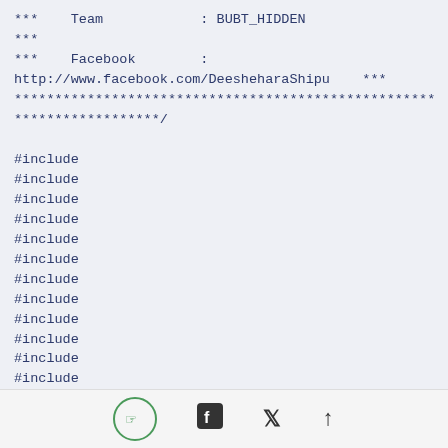***    Team            : BUBT_HIDDEN
***
***    Facebook        :
http://www.facebook.com/DeesheharaShipu    ***
****************************************************
******************/
#include
#include
#include
#include
#include
#include
#include
#include
#include
#include
#include
#include
#include
[hand icon] [facebook icon] [twitter icon] [up arrow]